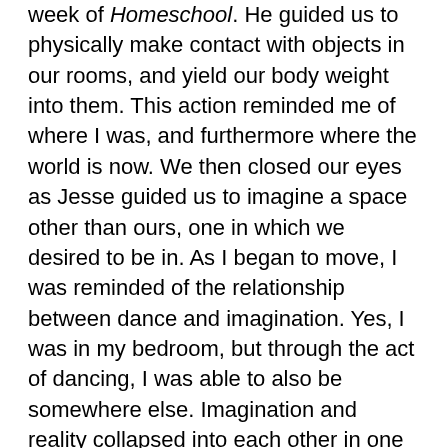week of Homeschool. He guided us to physically make contact with objects in our rooms, and yield our body weight into them. This action reminded me of where I was, and furthermore where the world is now. We then closed our eyes as Jesse guided us to imagine a space other than ours, one in which we desired to be in. As I began to move, I was reminded of the relationship between dance and imagination. Yes, I was in my bedroom, but through the act of dancing, I was able to also be somewhere else. Imagination and reality collapsed into each other in one moment.
And many of my classmates are fantasizing about similar scenarios. Bedrooms and kitchens become studios, backyards become proscenium theatres. Catching each other in various video chat spaces becomes the equivalent of the moment of seeing each other in passing on Broad Street on the way to class.
In light of everything that is happening, I think that